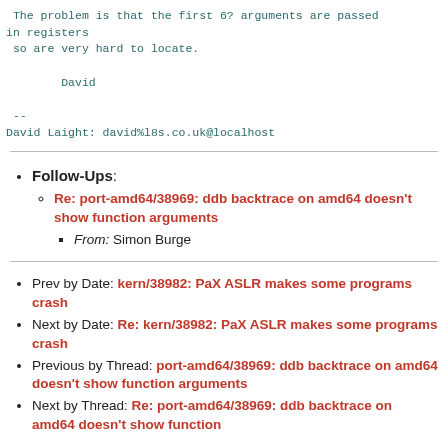The problem is that the first 6? arguments are passed
in registers
 so are very hard to locate.

        David

 --
David Laight: david%l8s.co.uk@localhost
Follow-Ups: Re: port-amd64/38969: ddb backtrace on amd64 doesn't show function arguments — From: Simon Burge
Prev by Date: kern/38982: PaX ASLR makes some programs crash
Next by Date: Re: kern/38982: PaX ASLR makes some programs crash
Previous by Thread: port-amd64/38969: ddb backtrace on amd64 doesn't show function arguments
Next by Thread: Re: port-amd64/38969: ddb backtrace on amd64 doesn't show function